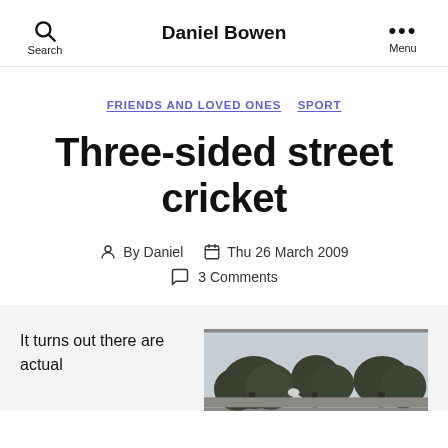Daniel Bowen
FRIENDS AND LOVED ONES   SPORT
Three-sided street cricket
By Daniel   Thu 26 March 2009   3 Comments
It turns out there are actual
[Figure (photo): Outdoor photo showing tree silhouettes against a grey sky, appears to be a park or street scene]